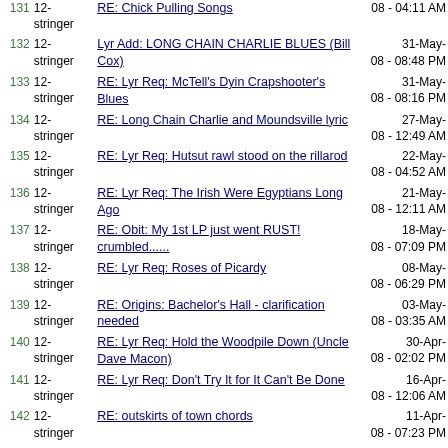| # | User | Subject | Date |
| --- | --- | --- | --- |
| 131 | 12-stringer | RE: Chick Pulling Songs | 08 - 04:11 AM |
| 132 | 12-stringer | Lyr Add: LONG CHAIN CHARLIE BLUES (Bill Cox) | 31-May-08 - 08:48 PM |
| 133 | 12-stringer | RE: Lyr Req: McTell's Dyin Crapshooter's Blues | 31-May-08 - 08:16 PM |
| 134 | 12-stringer | RE: Long Chain Charlie and Moundsville lyric | 27-May-08 - 12:49 AM |
| 135 | 12-stringer | RE: Lyr Req: Hutsut rawl stood on the rillarod | 22-May-08 - 04:52 AM |
| 136 | 12-stringer | RE: Lyr Req: The Irish Were Egyptians Long Ago | 21-May-08 - 12:11 AM |
| 137 | 12-stringer | RE: Obit: My 1st LP just went RUST! crumbled...... | 18-May-08 - 07:09 PM |
| 138 | 12-stringer | RE: Lyr Req: Roses of Picardy | 08-May-08 - 06:29 PM |
| 139 | 12-stringer | RE: Origins: Bachelor's Hall - clarification needed | 03-May-08 - 03:35 AM |
| 140 | 12-stringer | RE: Lyr Req: Hold the Woodpile Down (Uncle Dave Macon) | 30-Apr-08 - 02:02 PM |
| 141 | 12-stringer | RE: Lyr Req: Don't Try It for It Can't Be Done | 16-Apr-08 - 12:06 AM |
| 142 | 12-stringer | RE: outskirts of town chords | 11-Apr-08 - 07:23 PM |
| 143 | 12-stringer | RE: Blind Lemon Jefferson Puzzle | 10-Apr-08 - 01:50 PM |